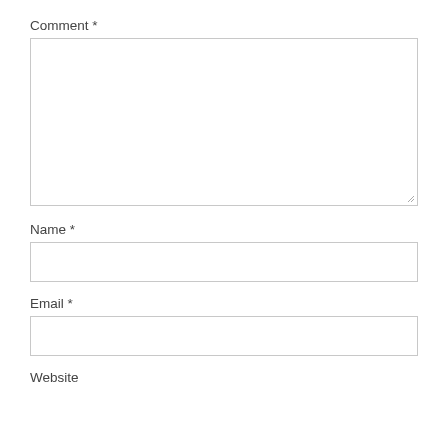Comment *
[Figure (other): Large empty textarea for comment input with resize handle at bottom-right corner]
Name *
[Figure (other): Single-line text input box for name]
Email *
[Figure (other): Single-line text input box for email]
Website